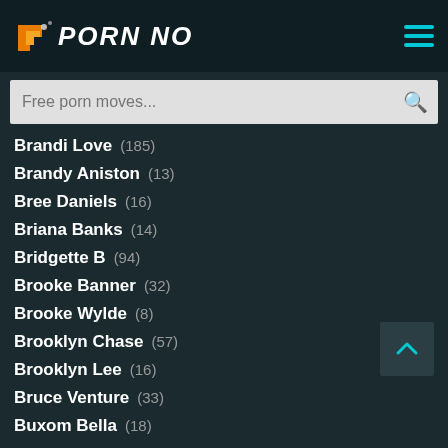HD PORN NO
Brandi Love (185)
Brandy Aniston (13)
Bree Daniels (16)
Briana Banks (14)
Bridgette B (94)
Brooke Banner (32)
Brooke Wylde (8)
Brooklyn Chase (57)
Brooklyn Lee (16)
Bruce Venture (33)
Buxom Bella (18)
C
Cadence Lux (35)